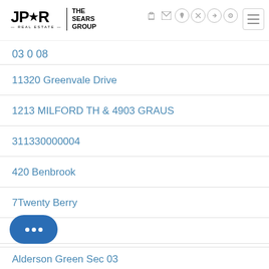JPAR Real Estate | THE SEARS GROUP
03 0 08
11320 Greenvale Drive
1213 MILFORD TH & 4903 GRAUS
311330000004
420 Benbrook
7Twenty Berry
Al Gean
Alderson Green Sec 03